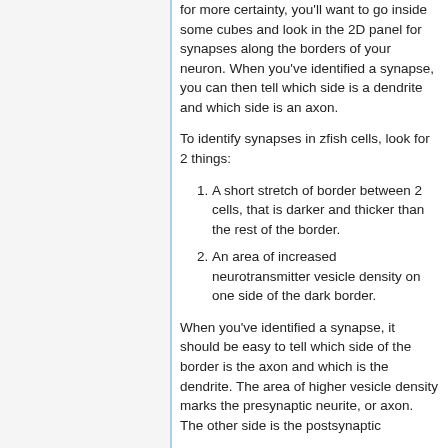for more certainty, you'll want to go inside some cubes and look in the 2D panel for synapses along the borders of your neuron. When you've identified a synapse, you can then tell which side is a dendrite and which side is an axon.
To identify synapses in zfish cells, look for 2 things:
A short stretch of border between 2 cells, that is darker and thicker than the rest of the border.
An area of increased neurotransmitter vesicle density on one side of the dark border.
When you've identified a synapse, it should be easy to tell which side of the border is the axon and which is the dendrite. The area of higher vesicle density marks the presynaptic neurite, or axon. The other side is the postsynaptic